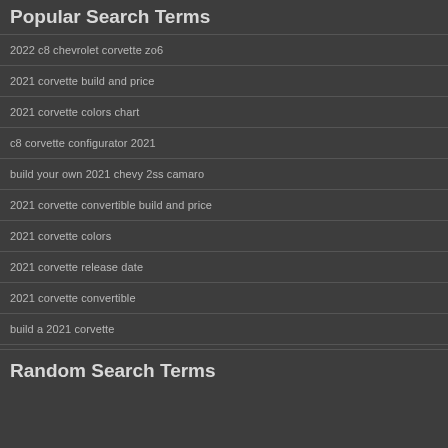Popular Search Terms
2022 c8 chevrolet corvette zo6
2021 corvette build and price
2021 corvette colors chart
c8 corvette configurator 2021
build your own 2021 chevy 2ss camaro
2021 corvette convertible build and price
2021 corvette colors
2021 corvette release date
2021 corvette convertible
build a 2021 corvette
Random Search Terms